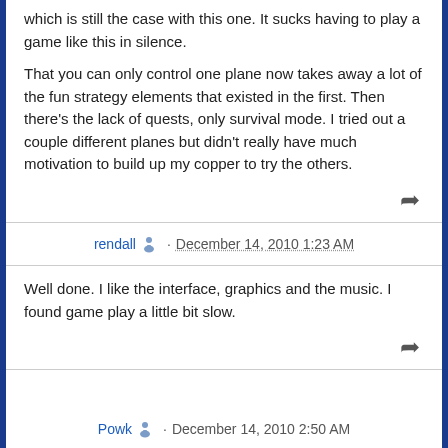which is still the case with this one. It sucks having to play a game like this in silence.
That you can only control one plane now takes away a lot of the fun strategy elements that existed in the first. Then there's the lack of quests, only survival mode. I tried out a couple different planes but didn't really have much motivation to build up my copper to try the others.
rendall · December 14, 2010 1:23 AM
Well done. I like the interface, graphics and the music. I found game play a little bit slow.
December 14, 2010 2:50 AM